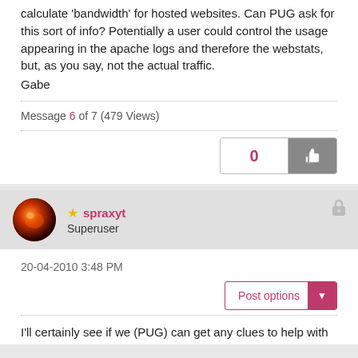calculate 'bandwidth' for hosted websites. Can PUG ask for this sort of info? Potentially a user could control the usage appearing in the apache logs and therefore the webstats, but, as you say, not the actual traffic.
Gabe
Message 6 of 7 (479 Views)
0 [thumbs up button]
spraxyt Superuser
20-04-2010 3:48 PM
Post options
I'll certainly see if we (PUG) can get any clues to help with